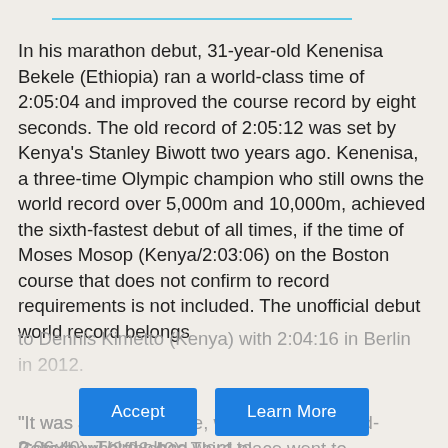In his marathon debut, 31-year-old Kenenisa Bekele (Ethiopia) ran a world-class time of 2:05:04 and improved the course record by eight seconds. The old record of 2:05:12 was set by Kenya's Stanley Biwott two years ago. Kenenisa, a three-time Olympic champion who still owns the world record over 5,000m and 10,000m, achieved the sixth-fastest debut of all times, if the time of Moses Mosop (Kenya/2:03:06) on the Boston course that does not confirm to record requirements is not included. The unofficial debut world record belongs to Dennis Kimetto (Kenya) with 2:04:16 in Berlin in 2012.
"It was a difficu... Bekele, who finished ahead... Getachew (2:06:40). Third place went to...